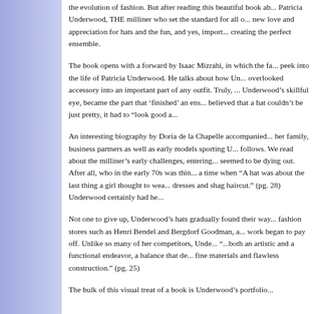the evolution of fashion. But after reading this beautiful book ab... Patricia Underwood, THE milliner who set the standard for all o... new love and appreciation for hats and the fun, and yes, import... creating the perfect ensemble.
The book opens with a forward by Isaac Mizrahi, in which the fa... peek into the life of Patricia Underwood. He talks about how Un... overlooked accessory into an important part of any outfit. Truly, ... Underwood’s skillful eye, became the part that ‘finished’ an ens... believed that a hat couldn’t be just pretty, it had to “look good a...
An interesting biography by Doria de la Chapelle accompanied... her family, business partners as well as early models sporting U... follows. We read about the milliner’s early challenges, entering... seemed to be dying out. After all, who in the early 70s was thin... a time when “A hat was about the last thing a girl thought to wea... dresses and shag haircut.” (pg. 28) Underwood certainly had he...
Not one to give up, Underwood's hats gradually found their way... fashion stores such as Henri Bendel and Bergdorf Goodman, a... work began to pay off. Unlike so many of her competitors, Unde... “...both an artistic and a functional endeavor, a balance that de... fine materials and flawless construction.” (pg. 25)
The bulk of this visual treat of a book is Underwood’s portfolio...